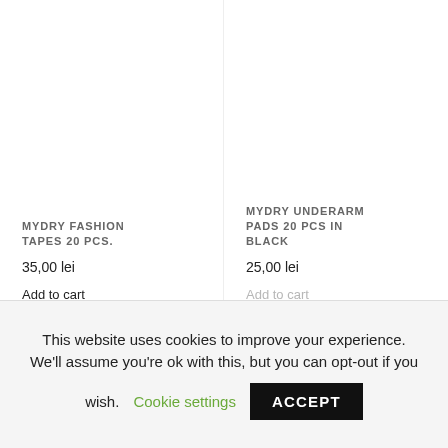MYDRY FASHION TAPES 20 PCS.
35,00 lei
Add to cart
MYDRY UNDERARM PADS 20 PCS IN BLACK
25,00 lei
Add to cart
This website uses cookies to improve your experience. We'll assume you're ok with this, but you can opt-out if you wish.
Cookie settings
ACCEPT